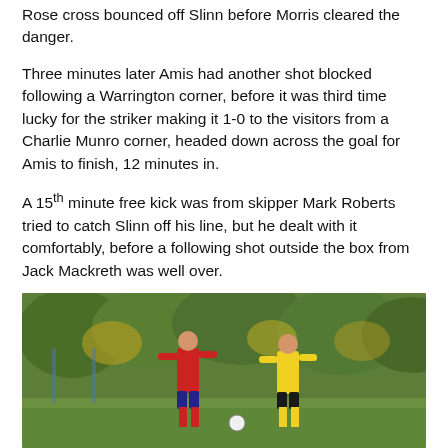Rose cross bounced off Slinn before Morris cleared the danger.
Three minutes later Amis had another shot blocked following a Warrington corner, before it was third time lucky for the striker making it 1-0 to the visitors from a Charlie Munro corner, headed down across the goal for Amis to finish, 12 minutes in.
A 15th minute free kick was from skipper Mark Roberts tried to catch Slinn off his line, but he dealt with it comfortably, before a following shot outside the box from Jack Mackreth was well over.
[Figure (photo): Two football players on a pitch — one in red kit, one in yellow kit — with green trees in the background. An outdoor amateur/semi-professional football match scene.]